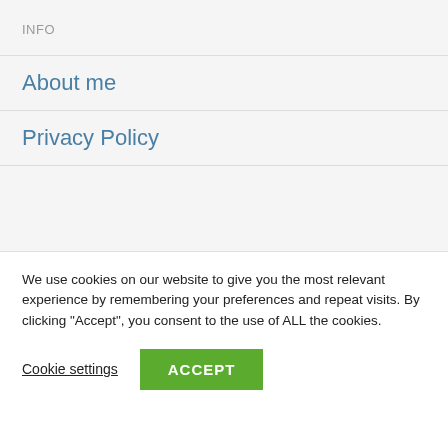INFO
About me
Privacy Policy
[Figure (logo): Plantica cursive script logo in coral/orange-red color]
We use cookies on our website to give you the most relevant experience by remembering your preferences and repeat visits. By clicking “Accept”, you consent to the use of ALL the cookies.
Cookie settings
ACCEPT